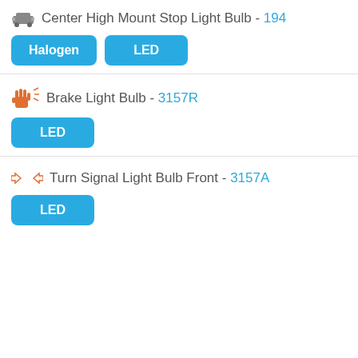Center High Mount Stop Light Bulb - 194
Halogen
LED
Brake Light Bulb - 3157R
LED
Turn Signal Light Bulb Front - 3157A
LED